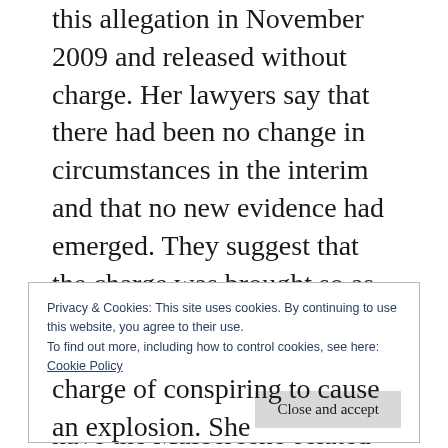this allegation in November 2009 and released without charge. Her lawyers say that there had been no change in circumstances in the interim and that no new evidence had emerged. They suggest that the charge was brought so as to pre-empt their planned challenge to the validity of the detention order. An attempt to have the Massereene-related charge ruled out as an abuse of process was postponed until the question of the extent of the pardon has been settled.
Privacy & Cookies: This site uses cookies. By continuing to use this website, you agree to their use.
To find out more, including how to control cookies, see here:
Cookie Policy
charge of conspiring to cause an explosion. She